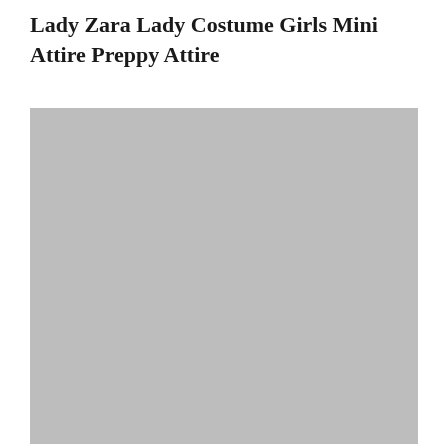Lady Zara Lady Costume Girls Mini Attire Preppy Attire
[Figure (photo): Large gray placeholder image for a product photo of Lady Zara Lady Costume Girls Mini Attire Preppy Attire]